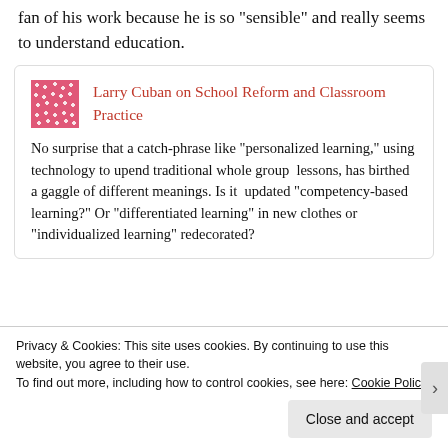fan of his work because he is so “sensible” and really seems to understand education.
[Figure (other): Embedded blog post card: Larry Cuban on School Reform and Classroom Practice with pink mosaic logo and article excerpt about personalized learning.]
No surprise that a catch-phrase like “personalized learning,” using technology to upend traditional whole group  lessons, has birthed a gaggle of different meanings. Is it  updated “competency-based learning?” Or “differentiated learning” in new clothes or “individualized learning” redecorated?
Privacy & Cookies: This site uses cookies. By continuing to use this website, you agree to their use. To find out more, including how to control cookies, see here: Cookie Policy